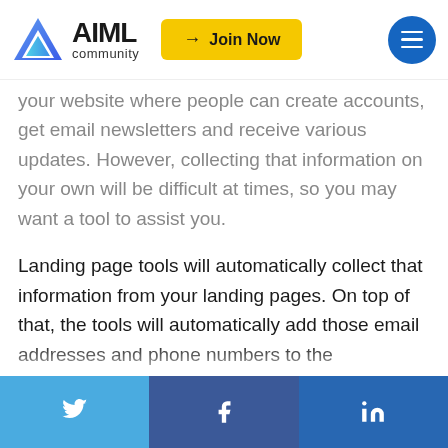AIML community — Join Now
your website where people can create accounts, get email newsletters and receive various updates. However, collecting that information on your own will be difficult at times, so you may want a tool to assist you.
Landing page tools will automatically collect that information from your landing pages. On top of that, the tools will automatically add those email addresses and phone numbers to the corresponding newsletters and text services. This makes landing
Twitter | Facebook | LinkedIn